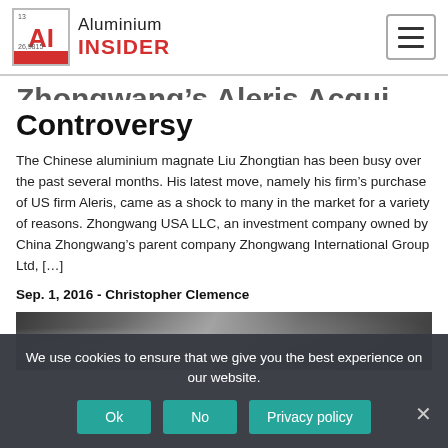Aluminium Insider
Controversy
The Chinese aluminium magnate Liu Zhongtian has been busy over the past several months. His latest move, namely his firm's purchase of US firm Aleris, came as a shock to many in the market for a variety of reasons. Zhongwang USA LLC, an investment company owned by China Zhongwang's parent company Zhongwang International Group Ltd, [...]
Sep. 1, 2016 - Christopher Clemence
[Figure (photo): Close-up photo of shiny aluminium metal surface with reflective texture]